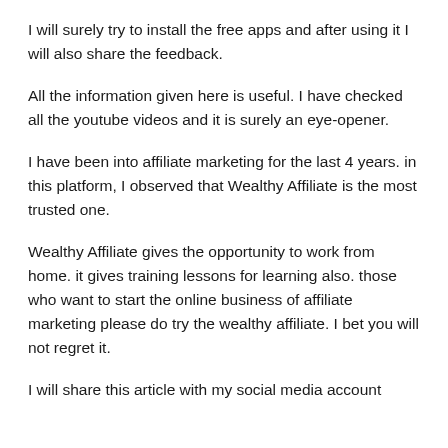I will surely try to install the free apps and after using it I will also share the feedback.
All the information given here is useful. I have checked all the youtube videos and it is surely an eye-opener.
I have been into affiliate marketing for the last 4 years. in this platform, I observed that Wealthy Affiliate is the most trusted one.
Wealthy Affiliate gives the opportunity to work from home. it gives training lessons for learning also. those who want to start the online business of affiliate marketing please do try the wealthy affiliate. I bet you will not regret it.
I will share this article with my social media account